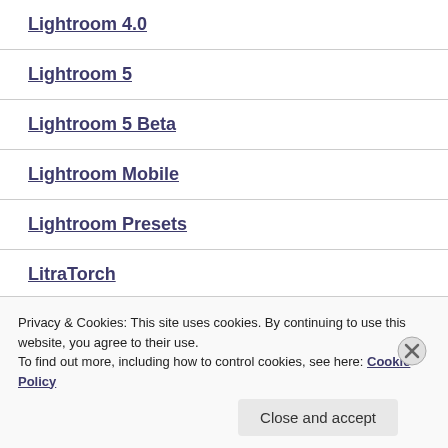Lightroom 4.0
Lightroom 5
Lightroom 5 Beta
Lightroom Mobile
Lightroom Presets
LitraTorch
Privacy & Cookies: This site uses cookies. By continuing to use this website, you agree to their use.
To find out more, including how to control cookies, see here: Cookie Policy